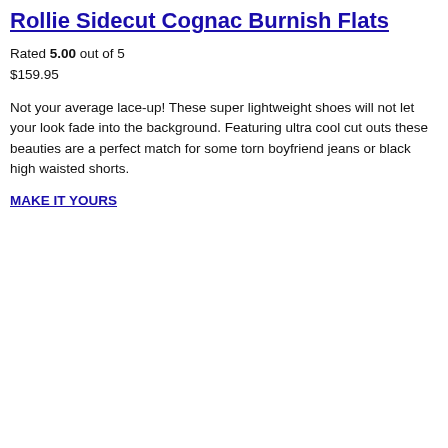Rollie Sidecut Cognac Burnish Flats
Rated 5.00 out of 5
$159.95
Not your average lace-up! These super lightweight shoes will not let your look fade into the background. Featuring ultra cool cut outs these beauties are a perfect match for some torn boyfriend jeans or black high waisted shorts.
MAKE IT YOURS